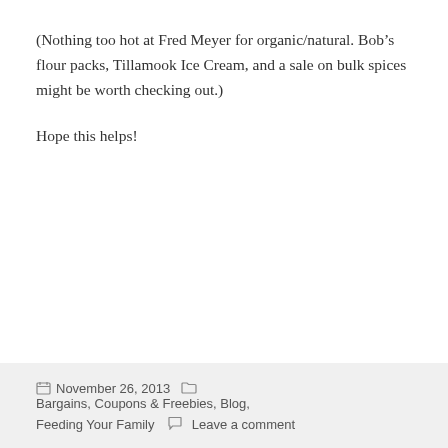(Nothing too hot at Fred Meyer for organic/natural. Bob's flour packs, Tillamook Ice Cream, and a sale on bulk spices might be worth checking out.)
Hope this helps!
November 26, 2013  Bargains, Coupons & Freebies, Blog, Feeding Your Family  Leave a comment